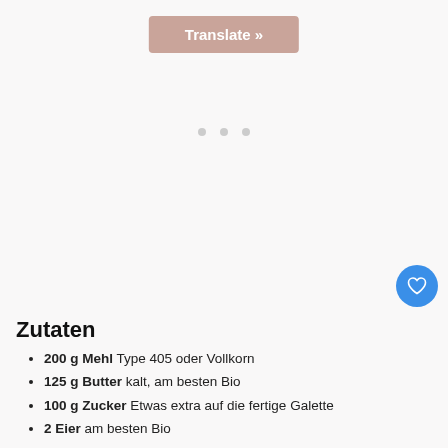[Figure (other): Pink 'Translate »' button at top center of page]
[Figure (other): Three gray dots indicating a slider/carousel indicator]
[Figure (other): Blue circular heart/like button on right side]
2
[Figure (other): Gray circular share button with share icon]
[Figure (other): Mailchimp monkey logo with 'WHAT'S NEXT → n Links' text]
Zutaten
200 g Mehl Type 405 oder Vollkorn
125 g Butter kalt, am besten Bio
100 g Zucker Etwas extra auf die fertige Galette
2 Eier am besten Bio